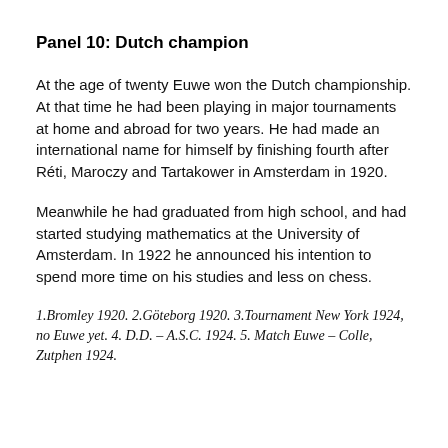Panel 10: Dutch champion
At the age of twenty Euwe won the Dutch championship. At that time he had been playing in major tournaments at home and abroad for two years. He had made an international name for himself by finishing fourth after Réti, Maroczy and Tartakower in Amsterdam in 1920.
Meanwhile he had graduated from high school, and had started studying mathematics at the University of Amsterdam. In 1922 he announced his intention to spend more time on his studies and less on chess.
1.Bromley 1920. 2.Göteborg 1920. 3.Tournament New York 1924, no Euwe yet. 4. D.D. – A.S.C. 1924. 5. Match Euwe – Colle, Zutphen 1924.